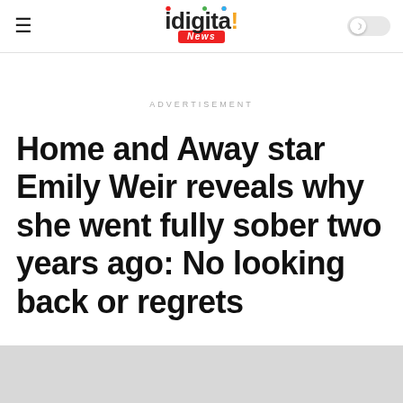idigital News
ADVERTISEMENT
Home and Away star Emily Weir reveals why she went fully sober two years ago: No looking back or regrets